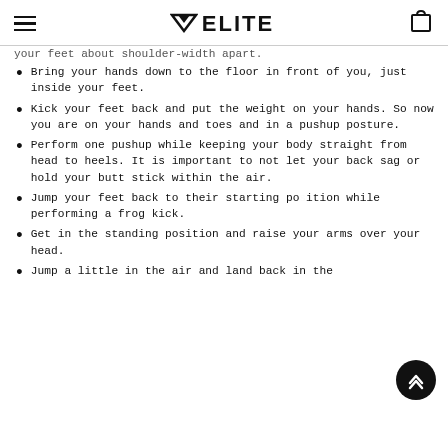ELITE
your feet about shoulder-width apart.
Bring your hands down to the floor in front of you, just inside your feet.
Kick your feet back and put the weight on your hands. So now you are on your hands and toes and in a pushup posture.
Perform one pushup while keeping your body straight from head to heels. It is important to not let your back sag or hold your butt stick within the air.
Jump your feet back to their starting position while performing a frog kick.
Get in the standing position and raise your arms over your head.
Jump a little in the air and land back in the